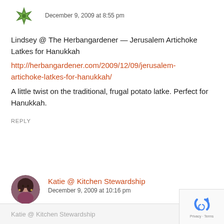[Figure (illustration): Green snowflake/leaf avatar icon for commenter]
December 9, 2009 at 8:55 pm
Lindsey @ The Herbangardener — Jerusalem Artichoke Latkes for Hanukkah
http://herbangardener.com/2009/12/09/jerusalem-artichoke-latkes-for-hanukkah/
A little twist on the traditional, frugal potato latke. Perfect for Hanukkah.
REPLY
[Figure (photo): Photo of Katie, a woman with dark hair wearing a purple top]
Katie @ Kitchen Stewardship
December 9, 2009 at 10:16 pm
Katie @ Kitchen Stewardship